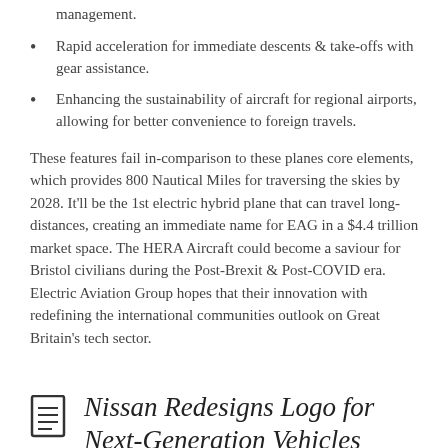management.
Rapid acceleration for immediate descents & take-offs with gear assistance.
Enhancing the sustainability of aircraft for regional airports, allowing for better convenience to foreign travels.
These features fail in-comparison to these planes core elements, which provides 800 Nautical Miles for traversing the skies by 2028. It'll be the 1st electric hybrid plane that can travel long-distances, creating an immediate name for EAG in a $4.4 trillion market space. The HERA Aircraft could become a saviour for Bristol civilians during the Post-Brexit & Post-COVID era. Electric Aviation Group hopes that their innovation with redefining the international communities outlook on Great Britain's tech sector.
Nissan Redesigns Logo for Next-Generation Vehicles